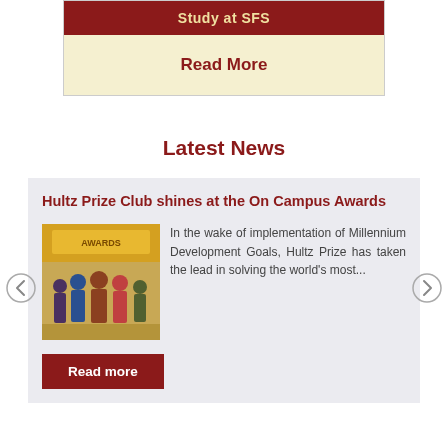Study at SFS
Read More
Latest News
Hultz Prize Club shines at the On Campus Awards
[Figure (photo): Group photo of people at the Hultz Prize On Campus Awards event]
In the wake of implementation of Millennium Development Goals, Hultz Prize has taken the lead in solving the world's most...
Read more